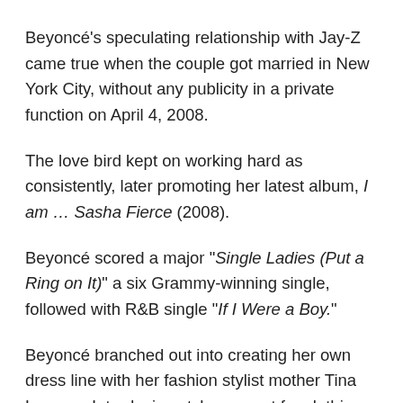Beyoncé's speculating relationship with Jay-Z came true when the couple got married in New York City, without any publicity in a private function on April 4, 2008.
The love bird kept on working hard as consistently, later promoting her latest album, I am … Sasha Fierce (2008).
Beyoncé scored a major "Single Ladies (Put a Ring on It)" a six Grammy-winning single, followed with R&B single "If I Were a Boy."
Beyoncé branched out into creating her own dress line with her fashion stylist mother Tina Lawson. Introducing style concept for clothing at the House of Dereon.
In 2010, She likewise propelled her own aroma line, "Heat".